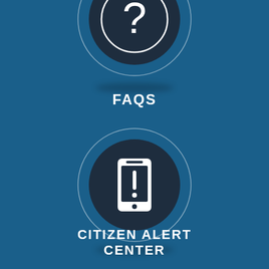[Figure (illustration): Circular icon with question mark symbol representing FAQs - partially cropped at top of page, dark navy inner circle with white question mark, surrounded by a thin white outer circle ring on a blue background]
FAQS
[Figure (illustration): Circular icon with mobile phone alert symbol representing Citizen Alert Center - dark navy inner circle with white smartphone/alert icon, surrounded by a thin white outer circle ring on a blue background]
CITIZEN ALERT CENTER